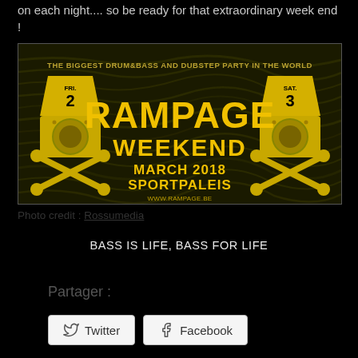on each night.... so be ready for that extraordinary week end !
[Figure (photo): Rampage Weekend event banner — 'The Biggest Drum&Bass and Dubstep Party in the World', March 2018, Sportpaleis, www.rampage.be, FRI 2 and SAT 3 logos in yellow on dark textured background.]
Photo credit : Rossumedia
BASS IS LIFE, BASS FOR LIFE
Partager :
Twitter  Facebook